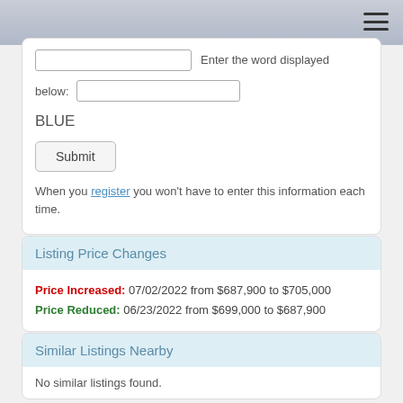Enter the word displayed below:
BLUE
Submit
When you register you won't have to enter this information each time.
Listing Price Changes
Price Increased: 07/02/2022 from $687,900 to $705,000
Price Reduced: 06/23/2022 from $699,000 to $687,900
Similar Listings Nearby
No similar listings found.